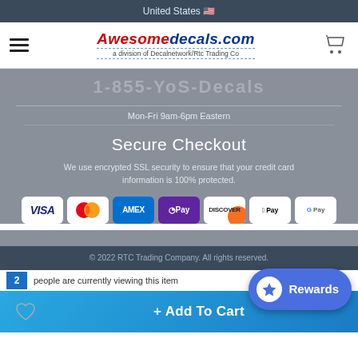United States 🇺🇸
[Figure (logo): Awesomedecals.com logo with hamburger menu and cart icon]
Mon-Fri 9am-6pm Eastern
Secure Checkout
We use encrypted SSL security to ensure that your credit card information is 100% protected.
[Figure (infographic): Payment method icons: VISA, Mastercard, AMEX, GPay, Discover, Apple Pay, Google Pay]
© 2022 RTC Trading Company. All rights reserved.
2  people are currently viewing this item
+ Add To Cart
Rewards